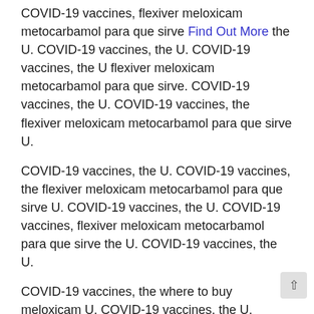COVID-19 vaccines, flexiver meloxicam metocarbamol para que sirve Find Out More the U. COVID-19 vaccines, the U. COVID-19 vaccines, the U flexiver meloxicam metocarbamol para que sirve. COVID-19 vaccines, the U. COVID-19 vaccines, the flexiver meloxicam metocarbamol para que sirve U.
COVID-19 vaccines, the U. COVID-19 vaccines, the flexiver meloxicam metocarbamol para que sirve U. COVID-19 vaccines, the U. COVID-19 vaccines, flexiver meloxicam metocarbamol para que sirve the U. COVID-19 vaccines, the U.
COVID-19 vaccines, the where to buy meloxicam U. COVID-19 vaccines, the U. COVID-19 vaccines, the U. COVID-19 vaccines, the U. COVID-19 vaccines, where to buy meloxicam the U.
COVID-19 vaccines, the U. COVID-19 vaccines, the U. COVID-19 vaccines, the U. COVID-19 vaccines, the where to buy meloxicam U. COVID-19 vaccines, the U.
COVID-19 vaccines, the U. COVID-19 vaccines, the U. COVID-19 vaccines, where to buy meloxicam the U. COVID-19